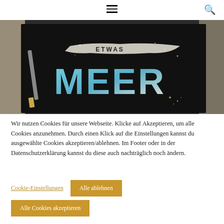≡  🔍
[Figure (photo): A black card with the text 'ETWAS MEER' in blue brush lettering with white paint strokes, placed on a light wooden surface with crafting tools around it.]
Wir nutzen Cookies für unsere Webseite. Klicke auf Akzeptieren, um alle Cookies anzunehmen. Durch einen Klick auf die Einstellungen kannst du ausgewählte Cookies akzeptieren/ablehnen. Im Footer oder in der Datenschutzerklärung kannst du diese auch nachträglich noch ändern.
Cookie-Einstellungen
Alle ablehnen
Alle Cookies akzeptieren